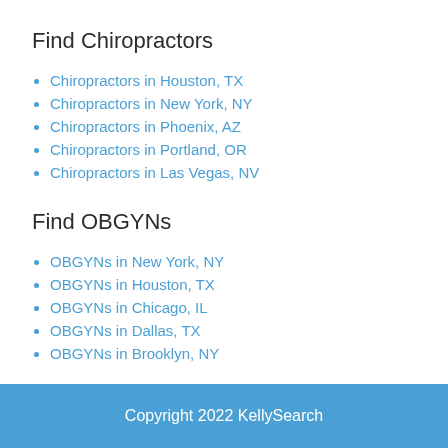Find Chiropractors
Chiropractors in Houston, TX
Chiropractors in New York, NY
Chiropractors in Phoenix, AZ
Chiropractors in Portland, OR
Chiropractors in Las Vegas, NV
Find OBGYNs
OBGYNs in New York, NY
OBGYNs in Houston, TX
OBGYNs in Chicago, IL
OBGYNs in Dallas, TX
OBGYNs in Brooklyn, NY
Copyright 2022 KellySearch